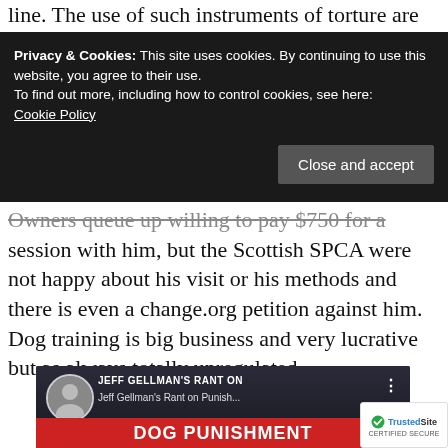line. The use of such instruments of torture are
[Figure (screenshot): Cookie consent banner with dark background overlaying webpage content. Text reads: 'Privacy & Cookies: This site uses cookies. By continuing to use this website, you agree to their use. To find out more, including how to control cookies, see here: Cookie Policy' with a 'Close and accept' button.]
Owners queue up willing to pay $750 for a session with him, but the Scottish SPCA were not happy about his visit or his methods and there is even a change.org petition against him. Dog training is big business and very lucrative but as always totally unregulated.
[Figure (screenshot): YouTube video thumbnail for 'Jeff Gellman's Rant on Dog Punishment' from the @SOLIDK9TRAINING channel. Shows channel icon, video title overlay, and a red banner reading 'DOG PUNISHMENT'. Partially overlaid by TrustedSite Certified Secure badge.]